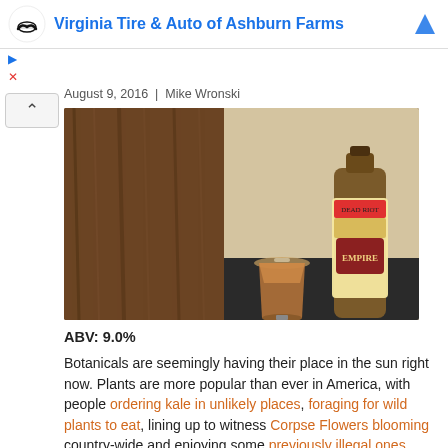Virginia Tire & Auto of Ashburn Farms
August 9, 2016 | Mike Wronski
[Figure (photo): A glass of dark amber beer next to a bottle with a decorative label on a dark surface, wood background]
ABV: 9.0%
Botanicals are seemingly having their place in the sun right now. Plants are more popular than ever in America, with people ordering kale in unlikely places, foraging for wild plants to eat, lining up to witness Corpse Flowers blooming country-wide and enjoying some previously illegal ones recreationally in four states. It was only a matter of time before they started showing